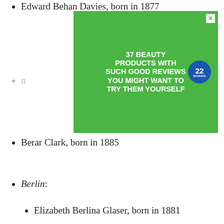Edward Behan Davies, born in 1877
[Figure (screenshot): Advertisement banner: '37 BEAUTY PRODUCTS WITH SUCH GOOD REVIEWS YOU MIGHT WANT TO TRY THEM YOURSELF' on green background with woman and 22 Words badge]
Berar Clark, born in 1885
Berlin:
Elizabeth Berlina Glaser, born in 1881
Blair Athole:
We use cookies on our website to give you the most relevant experience by remembering your preferences and repeat visits. By clicking “Accept”, you consent to the use of ALL the cookies.
Do no
[Figure (screenshot): Advertisement banner: '37 GENIUS AMAZON PRODUCTS THAT CAN BE USED BY ANYONE' with purple headphones on wooden surface and 22 Words badge. Close button with X visible.]